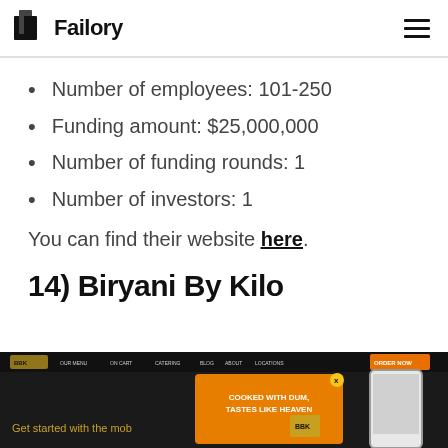Failory
Number of employees: 101-250
Funding amount: $25,000,000
Number of funding rounds: 1
Number of investors: 1
You can find their website here.
14) Biryani By Kilo
[Figure (screenshot): Screenshot of Biryani By Kilo website showing dark header with navigation, an orange popup ad saying 'Cooked with Dum, Tastes Like Heaven', a mobile phone mockup, and text 'Get started with the mob']